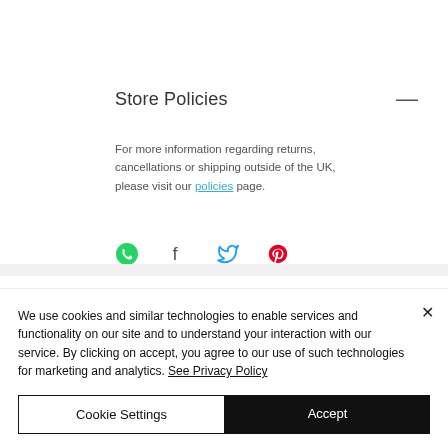Store Policies
For more information regarding returns, cancellations or shipping outside of the UK, please visit our policies page.
[Figure (infographic): Social sharing icons: WhatsApp (green), Facebook (grey), Twitter (blue), Pinterest (red/pink)]
We use cookies and similar technologies to enable services and functionality on our site and to understand your interaction with our service. By clicking on accept, you agree to our use of such technologies for marketing and analytics. See Privacy Policy